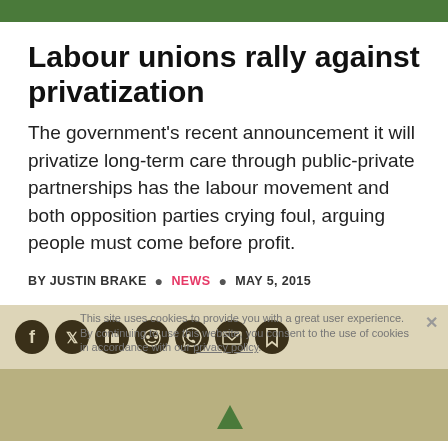Labour unions rally against privatization
The government's recent announcement it will privatize long-term care through public-private partnerships has the labour movement and both opposition parties crying foul, arguing people must come before profit.
BY JUSTIN BRAKE • NEWS • MAY 5, 2015
[Figure (infographic): Social share icons bar: Facebook, Twitter, LinkedIn, Reddit, WhatsApp, Email, Bookmark icons on a tan/beige background, overlaid with a cookie consent notice]
[Figure (photo): Partially visible bottom image area, tan/beige color with a green upward-pointing triangle/arrow shape]